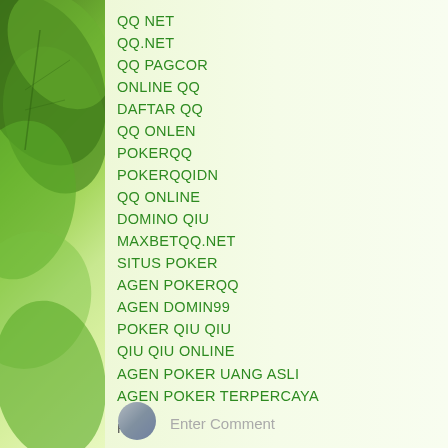QQ NET
QQ.NET
QQ PAGCOR
ONLINE QQ
DAFTAR QQ
QQ ONLEN
POKERQQ
POKERQQIDN
QQ ONLINE
DOMINO QIU
MAXBETQQ.NET
SITUS POKER
AGEN POKERQQ
AGEN DOMIN99
POKER QIU QIU
QIU QIU ONLINE
AGEN POKER UANG ASLI
AGEN POKER TERPERCAYA
Reply
Enter Comment